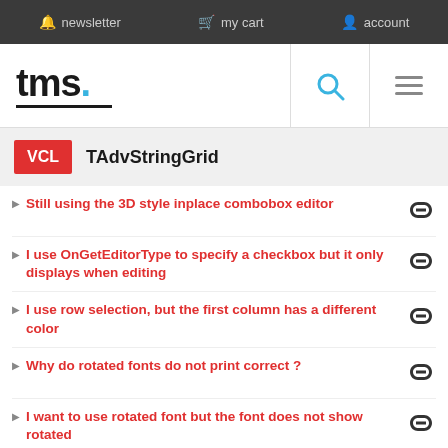newsletter  my cart  account
[Figure (logo): TMS logo with blue dot and underline, plus search and menu icons]
VCL  TAdvStringGrid
Still using the 3D style inplace combobox editor
I use OnGetEditorType to specify a checkbox but it only displays when editing
I use row selection, but the first column has a different color
Why do rotated fonts do not print correct ?
I want to use rotated font but the font does not show rotated
Why do my printouts do not have colors or fonts set as displayed ?